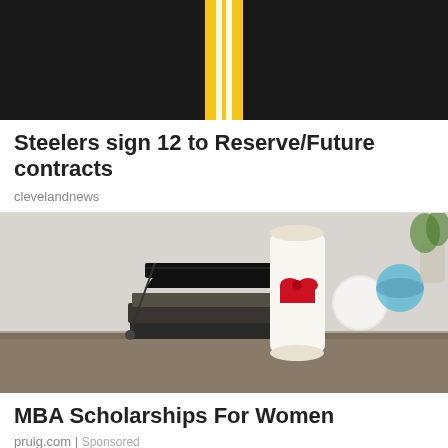[Figure (photo): Photo of a dark jersey/fabric with a yellow and white stripe/logo on a black background]
Steelers sign 12 to Reserve/Future contracts
clevelandnews
[Figure (photo): Photo of a graduation cap and diploma with red ribbon tied around it, placed on stacked books, with a blurry clock and globe in the background]
MBA Scholarships For Women
pruig.com | Sponsored